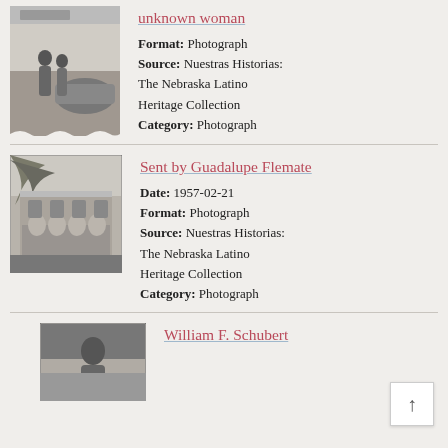[Figure (photo): Black and white photograph of two women standing on a street near a car, in front of a store.]
unknown woman
Format: Photograph
Source: Nuestras Historias: The Nebraska Latino Heritage Collection
Category: Photograph
[Figure (photo): Black and white photograph of a Spanish colonial-style building with arches, palm tree visible in foreground.]
Sent by Guadalupe Flemate
Date: 1957-02-21
Format: Photograph
Source: Nuestras Historias: The Nebraska Latino Heritage Collection
Category: Photograph
[Figure (photo): Black and white photograph partially visible, showing a person.]
William F. Schubert